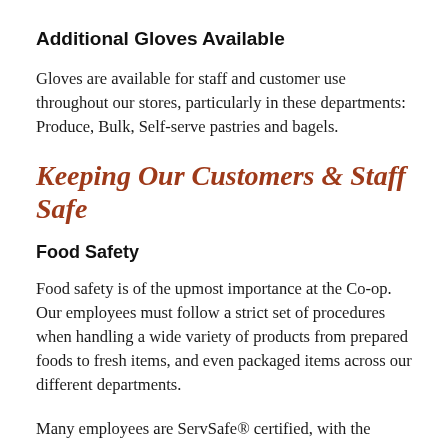Additional Gloves Available
Gloves are available for staff and customer use throughout our stores, particularly in these departments: Produce, Bulk, Self-serve pastries and bagels.
Keeping Our Customers & Staff Safe
Food Safety
Food safety is of the upmost importance at the Co-op. Our employees must follow a strict set of procedures when handling a wide variety of products from prepared foods to fresh items, and even packaged items across our different departments.
Many employees are ServSafe® certified, with the